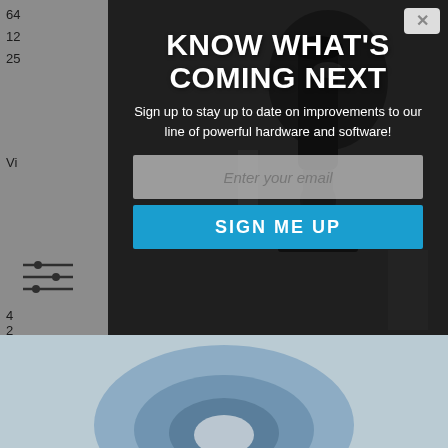[Figure (screenshot): Website screenshot showing a modal popup overlay on top of a page with microscope equipment. Left sidebar shows product filter options with numbers 64, 12, 25 and a slider icon. The modal has a dark background image of a microscope, a close button, title 'KNOW WHAT'S COMING NEXT', subtitle text about signing up, an email input field, and a 'SIGN ME UP' button. Below the modal is a blurred image of a circular object.]
KNOW WHAT'S COMING NEXT
Sign up to stay up to date on improvements to our line of powerful hardware and software!